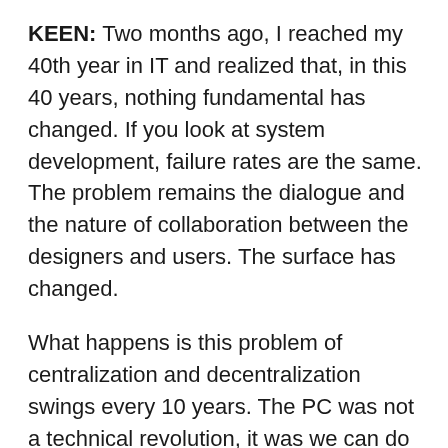KEEN: Two months ago, I reached my 40th year in IT and realized that, in this 40 years, nothing fundamental has changed. If you look at system development, failure rates are the same. The problem remains the dialogue and the nature of collaboration between the designers and users. The surface has changed.
What happens is this problem of centralization and decentralization swings every 10 years. The PC was not a technical revolution, it was we can do something without having MIS. Then we had local area networks and recentralization, so we swing back.
What we do to solve this problem is we rename the field periodically. In the 1960s, when I came in, we had data processing. In the 70s, it was management...